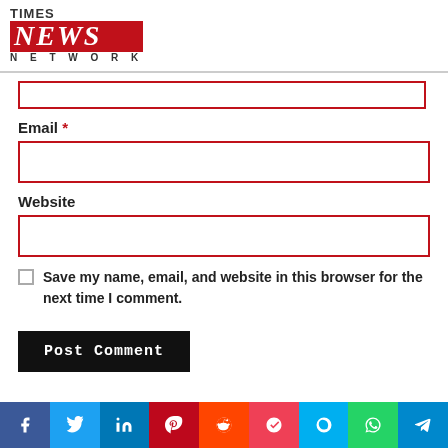[Figure (logo): Times News Network logo with red NEWS block]
Email *
Website
Save my name, email, and website in this browser for the next time I comment.
Post Comment
[Figure (infographic): Social sharing bar with Facebook, Twitter, LinkedIn, Pinterest, Reddit, Pocket, Skype, WhatsApp, Telegram icons]